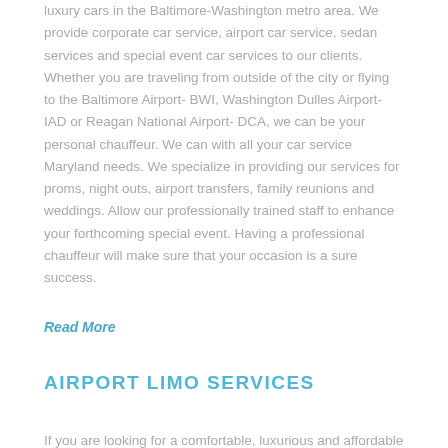luxury cars in the Baltimore-Washington metro area. We provide corporate car service, airport car service, sedan services and special event car services to our clients. Whether you are traveling from outside of the city or flying to the Baltimore Airport- BWI, Washington Dulles Airport- IAD or Reagan National Airport- DCA, we can be your personal chauffeur. We can with all your car service Maryland needs. We specialize in providing our services for proms, night outs, airport transfers, family reunions and weddings. Allow our professionally trained staff to enhance your forthcoming special event. Having a professional chauffeur will make sure that your occasion is a sure success.
Read More
AIRPORT LIMO SERVICES
If you are looking for a comfortable, luxurious and affordable airport limo service, you can book the services from CES. Once with us, you are sure to feel the